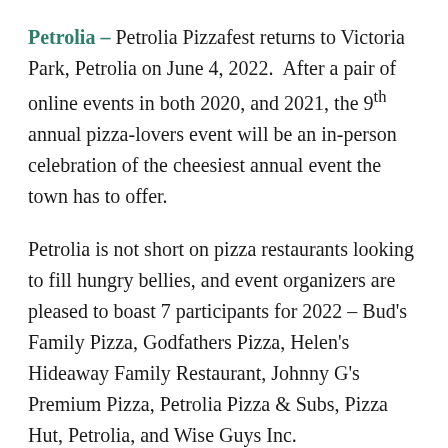Petrolia – Petrolia Pizzafest returns to Victoria Park, Petrolia on June 4, 2022. After a pair of online events in both 2020, and 2021, the 9th annual pizza-lovers event will be an in-person celebration of the cheesiest annual event the town has to offer.
Petrolia is not short on pizza restaurants looking to fill hungry bellies, and event organizers are pleased to boast 7 participants for 2022 – Bud's Family Pizza, Godfathers Pizza, Helen's Hideaway Family Restaurant, Johnny G's Premium Pizza, Petrolia Pizza & Subs, Pizza Hut, Petrolia, and Wise Guys Inc.
Known for the pizza, this event packs a whole lot of fun in to one day. For kids – bouncy castles, and games! For families, pizza, a Lambton Central